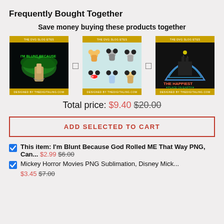Frequently Bought Together
Save money buying these products together
[Figure (illustration): Three product thumbnail images in a row with plus signs between them: 1) 'I'm Blunt Because God Rolled ME That Way' dark background design, 2) Mickey Horror Movies characters on light background, 3) 'The Happiest Place on Earth' Disney castle design]
Total price: $9.40 $20.00
ADD SELECTED TO CART
This item: I'm Blunt Because God Rolled ME That Way PNG, Can... $2.99 $6.00
Mickey Horror Movies PNG Sublimation, Disney Mick... $3.45 $7.00